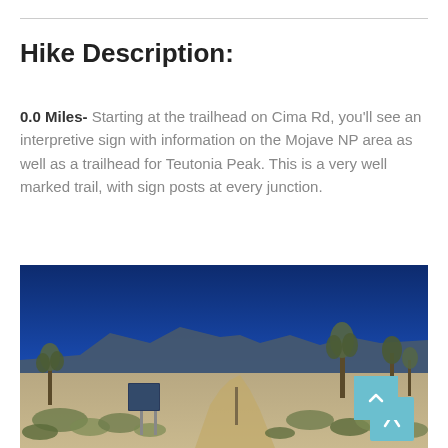Hike Description:
0.0 Miles- Starting at the trailhead on Cima Rd, you'll see an interpretive sign with information on the Mojave NP area as well as a trailhead for Teutonia Peak. This is a very well marked trail, with sign posts at every junction.
[Figure (photo): Desert trailhead scene showing a dirt path leading into scrubby desert landscape with Joshua trees and a sign post on the left, rocky mountains in the background under a deep blue sky. A light blue scroll-to-top button with a chevron arrow is visible in the lower right corner.]